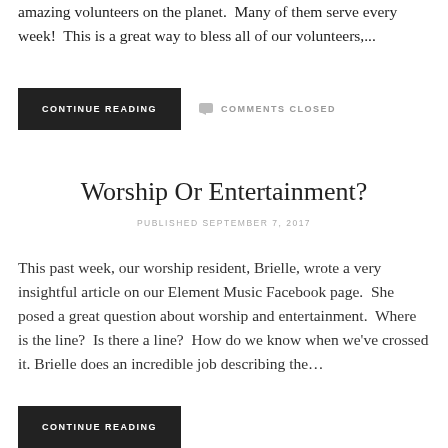amazing volunteers on the planet.  Many of them serve every week!  This is a great way to bless all of our volunteers,...
CONTINUE READING
COMMENTS CLOSED
Worship Or Entertainment?
PUBLISHED SEPTEMBER 7, 2017
This past week, our worship resident, Brielle, wrote a very insightful article on our Element Music Facebook page.  She posed a great question about worship and entertainment.  Where is the line?  Is there a line?  How do we know when we've crossed it. Brielle does an incredible job describing the...
CONTINUE READING